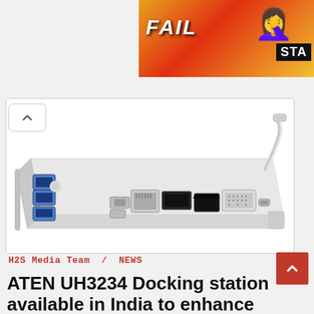[Figure (screenshot): Advertisement banner showing 'FAIL' text with emoji and flames, partially cropped at right edge showing 'STA']
[Figure (photo): ATEN UH3234 USB-C docking station in silver/aluminum finish, showing multiple ports including USB-A, SD card, Ethernet, HDMI, VGA, and a USB-C cable attached]
H2S Media Team  /  NEWS
ATEN UH3234 Docking station available in India to enhance laptop productivity